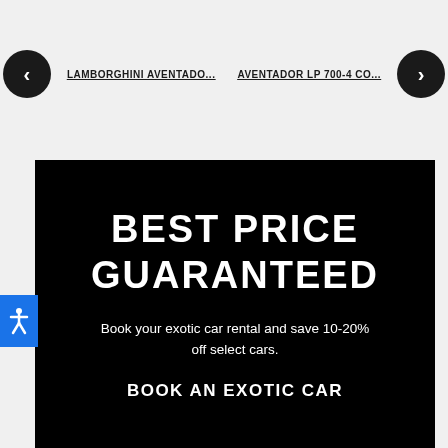LAMBORGHINI AVENTADO... | AVENTADOR LP 700-4 CO...
BEST PRICE GUARANTEED
Book your exotic car rental and save 10-20% off select cars.
BOOK AN EXOTIC CAR